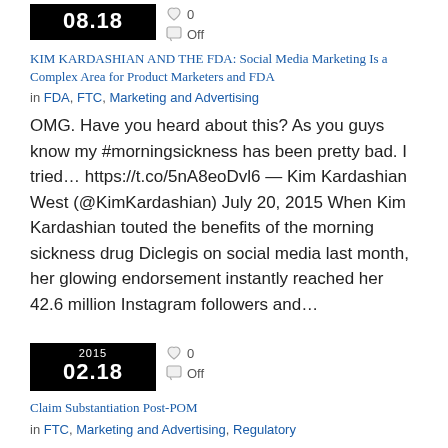[Figure (infographic): Date box showing 08.18 with heart (0 likes) and comment bubble (Off) icons]
KIM KARDASHIAN AND THE FDA: Social Media Marketing Is a Complex Area for Product Marketers and FDA
in FDA, FTC, Marketing and Advertising
OMG. Have you heard about this? As you guys know my #morningsickness has been pretty bad. I tried… https://t.co/5nA8eoDvl6 — Kim Kardashian West (@KimKardashian) July 20, 2015 When Kim Kardashian touted the benefits of the morning sickness drug Diclegis on social media last month, her glowing endorsement instantly reached her 42.6 million Instagram followers and…
[Figure (infographic): Date box showing 2015 02.18 with heart (0 likes) and comment bubble (Off) icons]
Claim Substantiation Post-POM
in FTC, Marketing and Advertising, Regulatory
Do you now always need at least two randomized and well…